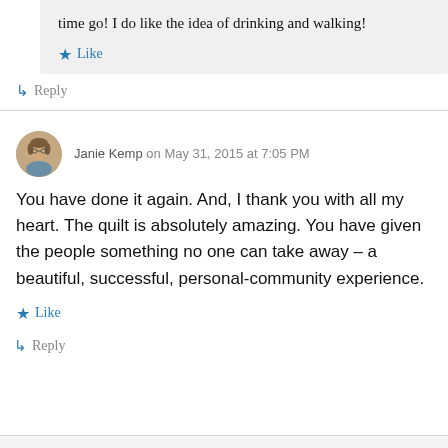time go! I do like the idea of drinking and walking!
Like
Reply
Janie Kemp on May 31, 2015 at 7:05 PM
You have done it again. And, I thank you with all my heart. The quilt is absolutely amazing. You have given the people something no one can take away – a beautiful, successful, personal-community experience.
Like
Reply